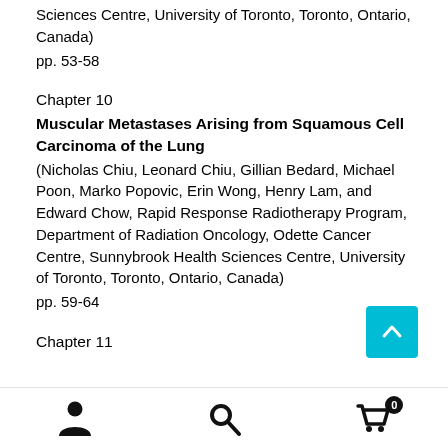Sciences Centre, University of Toronto, Toronto, Ontario, Canada)
pp. 53-58
Chapter 10
Muscular Metastases Arising from Squamous Cell Carcinoma of the Lung
(Nicholas Chiu, Leonard Chiu, Gillian Bedard, Michael Poon, Marko Popovic, Erin Wong, Henry Lam, and Edward Chow, Rapid Response Radiotherapy Program, Department of Radiation Oncology, Odette Cancer Centre, Sunnybrook Health Sciences Centre, University of Toronto, Toronto, Ontario, Canada)
pp. 59-64
Chapter 11
[Figure (other): Back to top button - teal square with upward chevron arrow]
Navigation bar with user icon, search icon, and cart icon with badge showing 0